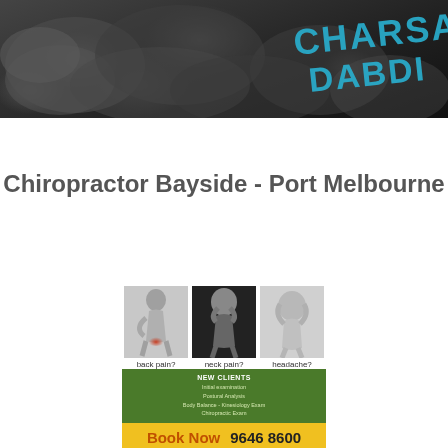[Figure (photo): Dark rocky background with blue graffiti text at the top of the page]
Chiropractor Bayside - Port Melbourne
[Figure (infographic): Chiropractic advertisement showing three black-and-white photos of people with back pain, neck pain, and headache. Below is a green box with NEW CLIENTS offer details (Initial examination, Postural Analysis, Body Balance - Kinesiology Exam, Chiropractic Exam) and a yellow Book Now button with phone number 9646 8600.]